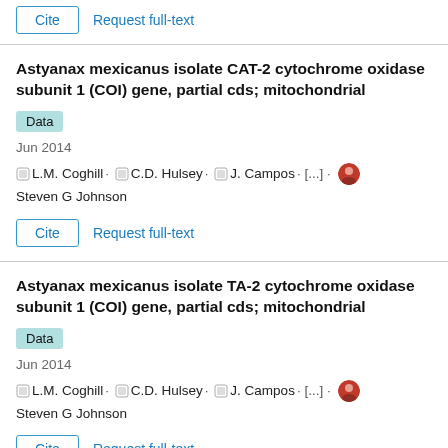Cite  Request full-text
Astyanax mexicanus isolate CAT-2 cytochrome oxidase subunit 1 (COI) gene, partial cds; mitochondrial
Data
Jun 2014
L.M. Coghill · C.D. Hulsey · J. Campos · [...] · Steven G Johnson
Cite  Request full-text
Astyanax mexicanus isolate TA-2 cytochrome oxidase subunit 1 (COI) gene, partial cds; mitochondrial
Data
Jun 2014
L.M. Coghill · C.D. Hulsey · J. Campos · [...] · Steven G Johnson
Cite  Request full-text